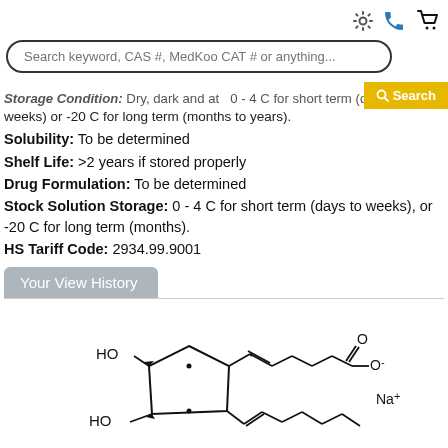Search keyword, CAS #, MedKoo CAT # or anything...
Storage Condition: Dry, dark and at 0 - 4 C for short term (days to weeks) or -20 C for long term (months to years).
Solubility: To be determined
Shelf Life: >2 years if stored properly
Drug Formulation: To be determined
Stock Solution Storage: 0 - 4 C for short term (days to weeks), or -20 C for long term (months).
HS Tariff Code: 2934.99.9001
Your View History
[Figure (illustration): Chemical structure of a prostaglandin sodium salt showing a cyclopentane ring with two hydroxyl groups (HO), a trans double bond chain ending in a carboxylate (O-) group, and a cis chain with a double bond, with Na+ counterion labeled.]